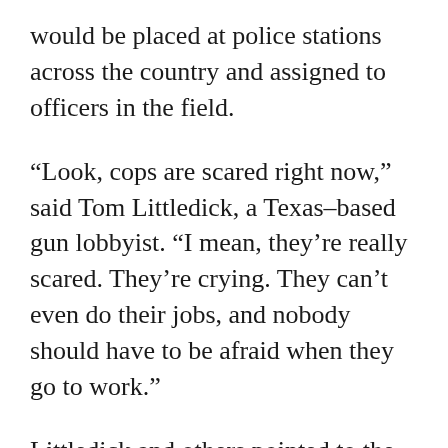would be placed at police stations across the country and assigned to officers in the field.
“Look, cops are scared right now,” said Tom Littledick, a Texas–based gun lobbyist. “I mean, they’re really scared. They’re crying. They can’t even do their jobs, and nobody should have to be afraid when they go to work.”
Littledick and others pointed to the school shooting in Uvalde, suggesting that it could have been prevented if terrified officers felt more protected as they stood outside for